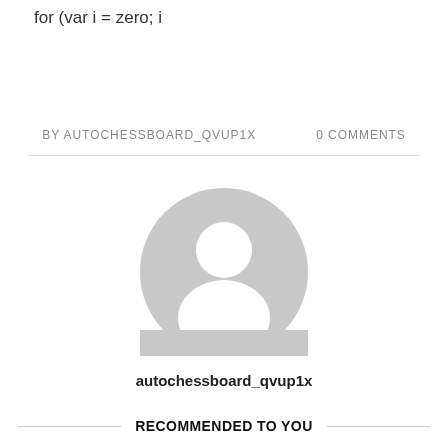for (var i = zero; i
BY AUTOCHESSBOARD_QVUP1X    0 COMMENTS
[Figure (illustration): Default grey avatar/profile placeholder icon: a circle with a person silhouette (head and shoulders)]
autochessboard_qvup1x
RECOMMENDED TO YOU
[Figure (screenshot): Thumbnail of a fantasy/strategy game screenshot with chess-like board and heroes]
[Figure (screenshot): Thumbnail of a fantasy character with lightning effects, golden armor]
[Figure (screenshot): Thumbnail of a fantasy game with colorful characters and blue background]